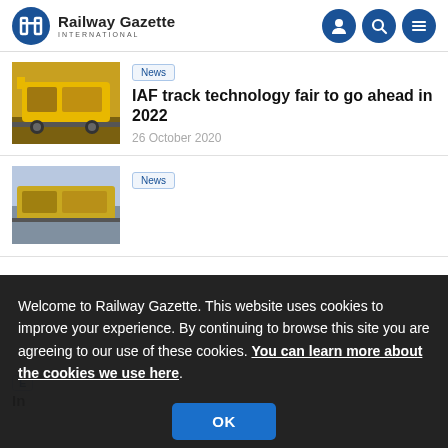Railway Gazette INTERNATIONAL
[Figure (photo): Yellow railway track maintenance vehicle]
News
IAF track technology fair to go ahead in 2022
26 October 2020
[Figure (photo): Yellow rail equipment/train at station]
News
Welcome to Railway Gazette. This website uses cookies to improve your experience. By continuing to browse this site you are agreeing to our use of these cookies. You can learn more about the cookies we use here.
OK